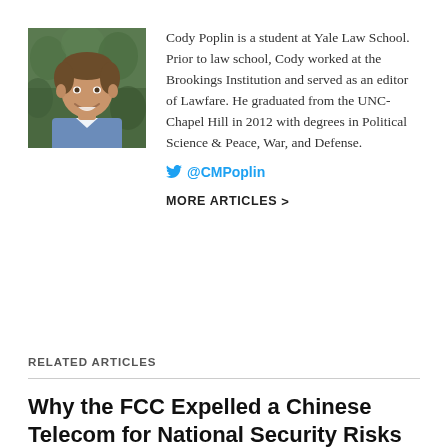[Figure (photo): Headshot photo of Cody Poplin, a young man smiling, with green foliage behind him]
Cody Poplin is a student at Yale Law School. Prior to law school, Cody worked at the Brookings Institution and served as an editor of Lawfare. He graduated from the UNC-Chapel Hill in 2012 with degrees in Political Science & Peace, War, and Defense.
@CMPoplin
MORE ARTICLES >
RELATED ARTICLES
Why the FCC Expelled a Chinese Telecom for National Security Risks